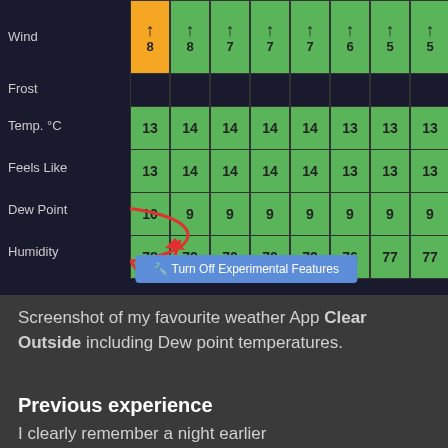[Figure (screenshot): Screenshot of Clear Outside weather app showing Wind, Frost, Temp °C, Feels Like, Dew Point, and Humidity rows with green grid cells and numeric values. A red hand-drawn circle and arrow annotation points to the Dew Point row. A blue 'Turn Off Experimental Features' button is visible at the bottom.]
Screenshot of my favourite weather App Clear Outside including Dew point temperatures.
Previous experience
I clearly remember a night earlier